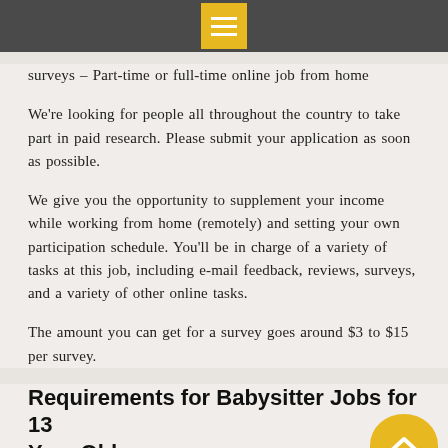surveys – Part-time or full-time online job from home
We're looking for people all throughout the country to take part in paid research. Please submit your application as soon as possible.
We give you the opportunity to supplement your income while working from home (remotely) and setting your own participation schedule. You'll be in charge of a variety of tasks at this job, including e-mail feedback, reviews, surveys, and a variety of other online tasks.
The amount you can get for a survey goes around $3 to $15 per survey.
Requirements for Babysitter Jobs for 13 Year Olds